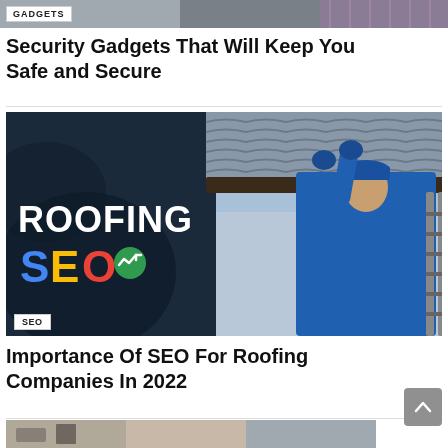[Figure (photo): Top strip of a photo showing a person in a plaid shirt, partially cropped, with a GADGETS category badge overlay]
GADGETS
Security Gadgets That Will Keep You Safe and Secure
[Figure (photo): Roofing SEO promotional image showing a worker in blue uniform and cap installing roof gutters on the right, and a dark blue panel with 'ROOFING' in white bold text and 'SEO' in Google-colors with a chart arrow icon on the left. SEO badge in bottom-left corner.]
SEO
Importance Of SEO For Roofing Companies In 2022
[Figure (photo): Partially visible bottom image strip showing an indoor scene, cropped at the page edge]